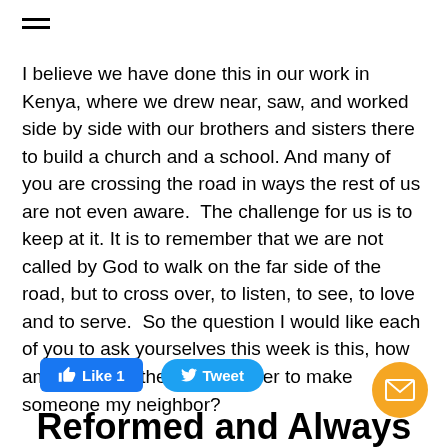I believe we have done this in our work in Kenya, where we drew near, saw, and worked side by side with our brothers and sisters there to build a church and a school. And many of you are crossing the road in ways the rest of us are not even aware.  The challenge for us is to keep at it. It is to remember that we are not called by God to walk on the far side of the road, but to cross over, to listen, to see, to love and to serve.  So the question I would like each of you to ask yourselves this week is this, how am I crossing the road in order to make someone my neighbor?
[Figure (screenshot): Facebook Like button showing 'Like 1' count in blue, and a Twitter Tweet button in blue pill shape]
[Figure (other): Orange circular email/envelope icon button in bottom right corner]
Reformed and Always